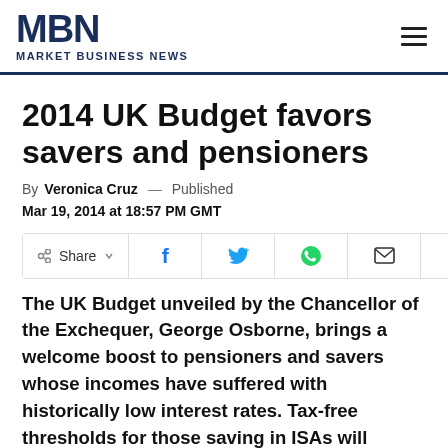MBN MARKET BUSINESS NEWS
2014 UK Budget favors savers and pensioners
By Veronica Cruz — Published Mar 19, 2014 at 18:57 PM GMT
[Figure (infographic): Social share bar with Share, Facebook, Twitter, WhatsApp, Email, LinkedIn, and Print buttons]
The UK Budget unveiled by the Chancellor of the Exchequer, George Osborne, brings a welcome boost to pensioners and savers whose incomes have suffered with historically low interest rates. Tax-free thresholds for those saving in ISAs will increase, and pensioners are to get a higher interest option on their